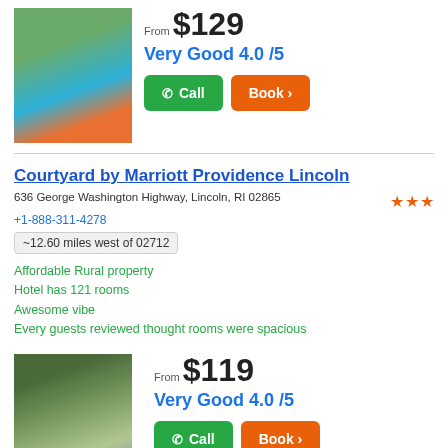[Figure (photo): Hotel pool area with orange chairs and white canopies]
From $129
Very Good 4.0 /5
Call
Book >
Courtyard by Marriott Providence Lincoln
636 George Washington Highway, Lincoln, RI 02865
+1-888-311-4278
~12.60 miles west of 02712
Affordable Rural property
Hotel has 121 rooms
Awesome vibe
Every guests reviewed thought rooms were spacious
[Figure (photo): Hotel grounds with a gazebo and water feature surrounded by trees]
From $119
Very Good 4.0 /5
Call
Book >